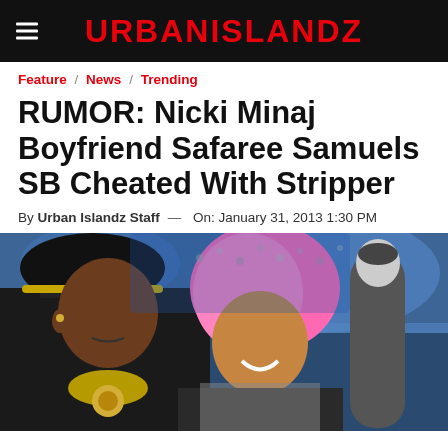URBANISLANDZ
Feature / News / Trending
RUMOR: Nicki Minaj Boyfriend Safaree Samuels SB Cheated With Stripper
By Urban Islandz Staff — On: January 31, 2013 1:30 PM
[Figure (photo): A man in a black shirt and black cap with gold chain and a woman with pink hair, seated at what appears to be a basketball game arena]